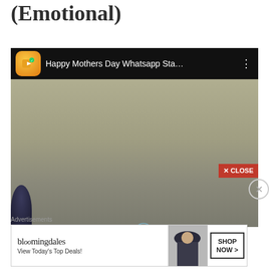(Emotional)
[Figure (screenshot): YouTube-style video player showing 'Happy Mothers Day Whatsapp Sta...' with a video icon, dark header bar, and muted greenish-grey video content with a dark silhouette at lower left. A red CLOSE button appears at bottom right of the video.]
Research
[Figure (screenshot): Bloomingdale's advertisement banner reading 'bloomingdales View Today's Top Deals!' with a woman in a large hat and a SHOP NOW > button.]